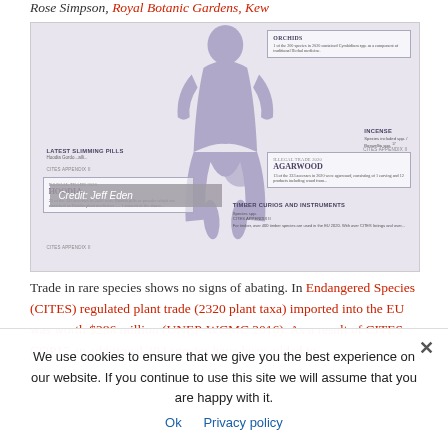Rose Simpson, Royal Botanic Gardens, Kew
[Figure (infographic): Infographic showing illegal plant trade items including Hoodia, Agarwood, Orchids, Incense, and Timber, Curios and Instruments. Features a human silhouette. Credit: Jeff Eden.]
Trade in rare species shows no signs of abating. In
Endangered Species (CITES) regulated plant trade (2320 plant taxa) imported into the EU was worth $286 million (UNEP-WCMC 2016). As a result of CITES COP17 an additional 304 species have been added to